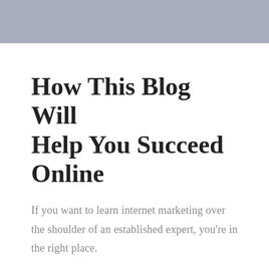How This Blog Will Help You Succeed Online
If you want to learn internet marketing over the shoulder of an established expert, you're in the right place.